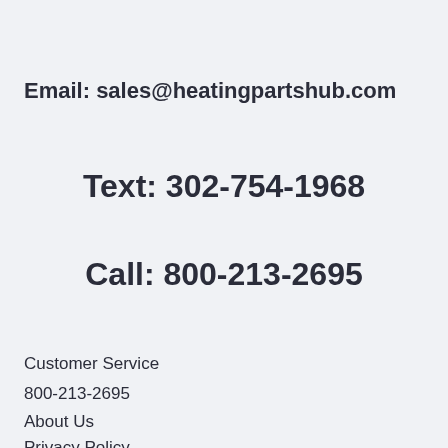Email: sales@heatingpartshub.com
Text: 302-754-1968
Call: 800-213-2695
Customer Service
800-213-2695
About Us
Privacy Policy